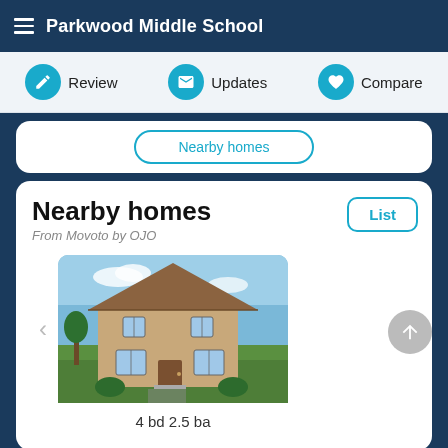Parkwood Middle School
Review  Updates  Compare
Nearby homes
Nearby homes
From Movoto by OJO
[Figure (photo): Photo of a two-story suburban house with green lawn, beige/tan exterior, blue sky background. Price shown as $660,000, details: 4 bd 2.5 ba]
$660,000
4 bd 2.5 ba